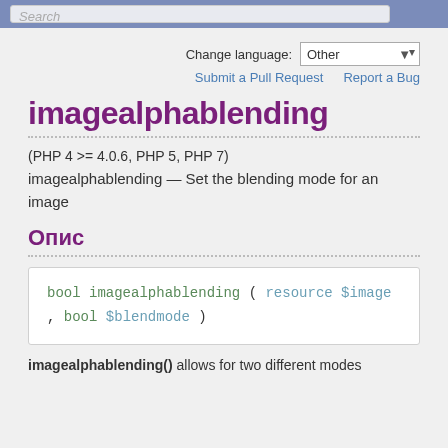Search
Change language: Other
Submit a Pull Request   Report a Bug
imagealphablending
(PHP 4 >= 4.0.6, PHP 5, PHP 7)
imagealphablending — Set the blending mode for an image
Опис
imagealphablending() allows for two different modes